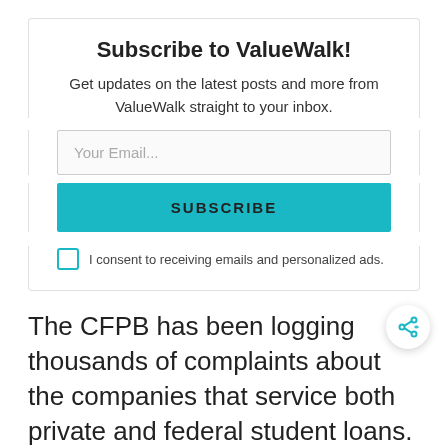Subscribe to ValueWalk!
Get updates on the latest posts and more from ValueWalk straight to your inbox.
Your Email...
SUBSCRIBE
I consent to receiving emails and personalized ads.
The CFPB has been logging thousands of complaints about the companies that service both private and federal student loans. It has issued a number of reports detailing common complaints,